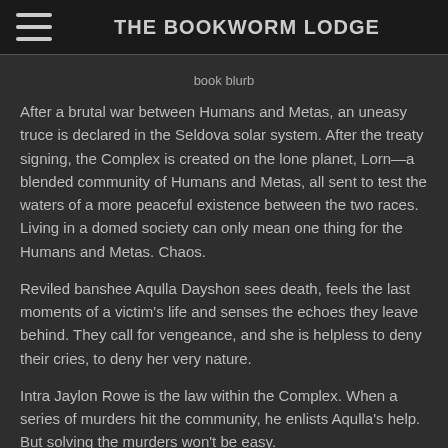THE BOOKWORM LODGE
[Figure (other): Book blurb image placeholder with alt text 'book blurb']
After a brutal war between Humans and Metas, an uneasy truce is declared in the Seldova solar system. After the treaty signing, the Complex is created on the lone planet, Lorn—a blended community of Humans and Metas, all sent to test the waters of a more peaceful existence between the two races. Living in a domed society can only mean one thing for the Humans and Metas. Chaos.
Reviled banshee Aqulla Dayshon sees death, feels the last moments of a victim's life and senses the echoes they leave behind. They call for vengeance, and she is helpless to deny their cries, to deny her very nature.
Intra Jaylon Rowe is the law within the Complex. When a series of murders hit the community, he enlists Aqulla's help. But solving the murders won't be easy.
Boundaries will be pushed, and rules broken. And as